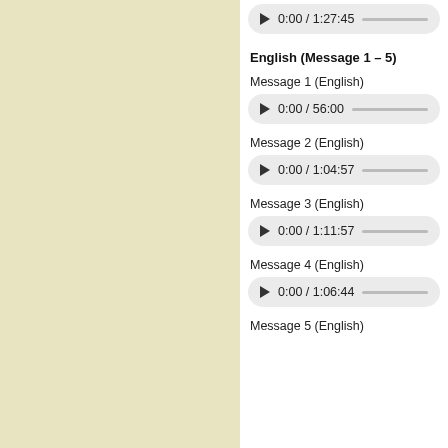[Figure (screenshot): Audio player showing 0:00 / 1:27:45 (partially visible at top)]
English (Message 1 – 5)
Message 1 (English)
[Figure (screenshot): Audio player showing 0:00 / 56:00]
Message 2 (English)
[Figure (screenshot): Audio player showing 0:00 / 1:04:57]
Message 3 (English)
[Figure (screenshot): Audio player showing 0:00 / 1:11:57]
Message 4 (English)
[Figure (screenshot): Audio player showing 0:00 / 1:06:44]
Message 5 (English)